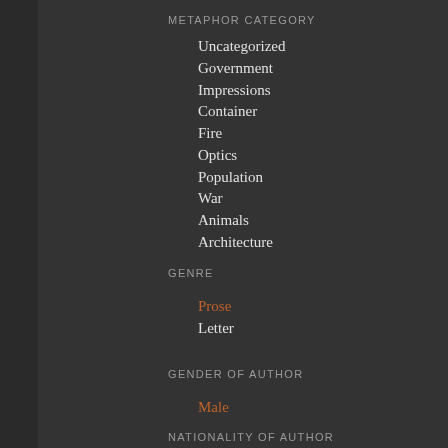METAPHOR CATEGORY
Uncategorized
Government
Impressions
Container
Fire
Optics
Population
War
Animals
Architecture
GENRE
Prose
Letter
GENDER OF AUTHOR
Male
NATIONALITY OF AUTHOR